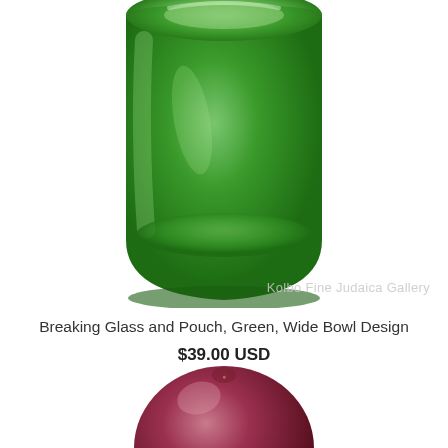[Figure (photo): Green wide bowl shaped glass vessel, viewed from above/side angle, against white background]
Kolbo Fine Judaica Gallery
Breaking Glass and Pouch, Green, Wide Bowl Design
$39.00 USD
[Figure (photo): Partial view of a dark red/purple glass sphere or ball, cropped at bottom of page]